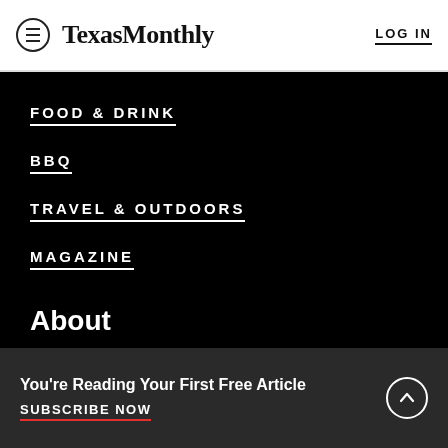Texas Monthly | LOG IN
FOOD & DRINK
BBQ
TRAVEL & OUTDOORS
MAGAZINE
PODCASTS
VIDEO
About
You're Reading Your First Free Article
SUBSCRIBE NOW